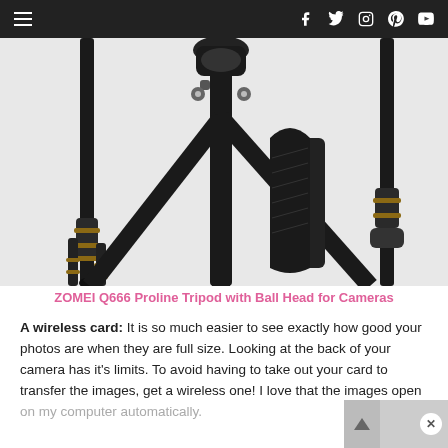Navigation bar with hamburger menu and social icons: Facebook, Twitter, Instagram, Pinterest, YouTube
[Figure (photo): Close-up photo of ZOMEI Q666 Proline Tripod with Ball Head for Cameras, showing black metal tripod legs with gold-coloured joints and a padded strap.]
ZOMEI Q666 Proline Tripod with Ball Head for Cameras
A wireless card:  It is so much easier to see exactly how good your photos are when they are full size.  Looking at the back of your camera has it's limits.  To avoid having to take out your card to transfer the images, get a wireless one!  I love that the images open on my computer automatically.